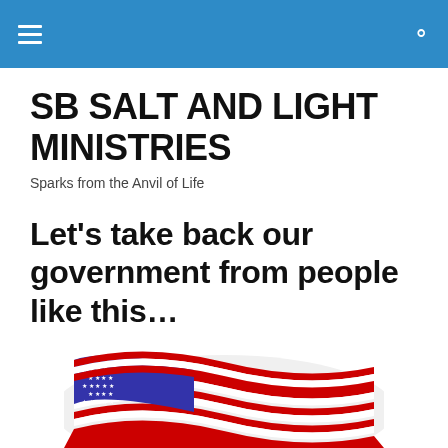SB Salt and Light Ministries — navigation header
SB SALT AND LIGHT MINISTRIES
Sparks from the Anvil of Life
Let's take back our government from people like this…
[Figure (illustration): Partial view of a waving American flag showing blue field with white stars and red/white stripes, cropped at bottom of page]